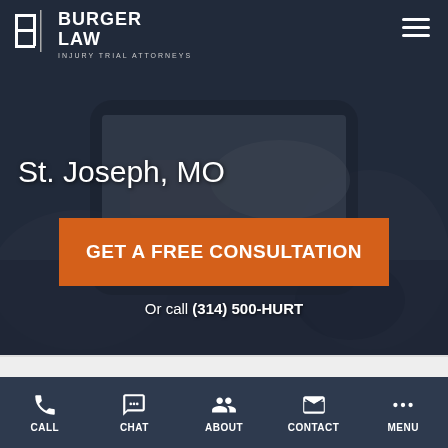[Figure (screenshot): Law firm website screenshot showing a hero section with a dark overlay photo of a car accident being photographed on a smartphone, with the Burger Law logo, navigation hamburger menu, city title, CTA button, phone number, and bottom navigation bar with Call, Chat, About, Contact, Menu items.]
BURGER LAW INJURY TRIAL ATTORNEYS
St. Joseph, MO
GET A FREE CONSULTATION
Or call (314) 500-HURT
CALL   CHAT   ABOUT   CONTACT   MENU